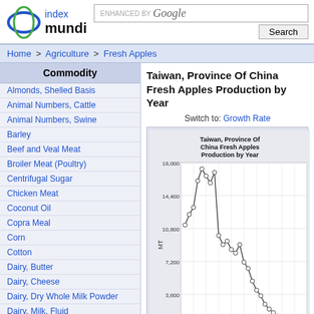[Figure (logo): Index Mundi logo with circular globe icon and text 'index mundi']
ENHANCED BY Google  Search
Home > Agriculture > Fresh Apples
Commodity
Almonds, Shelled Basis
Animal Numbers, Cattle
Animal Numbers, Swine
Barley
Beef and Veal Meat
Broiler Meat (Poultry)
Centrifugal Sugar
Chicken Meat
Coconut Oil
Copra Meal
Corn
Cotton
Dairy, Butter
Dairy, Cheese
Dairy, Dry Whole Milk Powder
Dairy, Milk, Fluid
Dairy, Milk, Nonfat Dry
Fish Meal
Taiwan, Province Of China Fresh Apples Production by Year
Switch to: Growth Rate
[Figure (continuous-plot): Line chart titled 'Taiwan, Province Of China Fresh Apples Production by Year'. Y-axis labeled MT with values 3,600 / 7,200 / 10,800 / 14,400 / 18,000. The line shows production starting moderate around 13,000 MT, rising to a peak near 18,000 MT, then declining steeply to around 3,000-4,000 MT, with data points marked as open circles.]